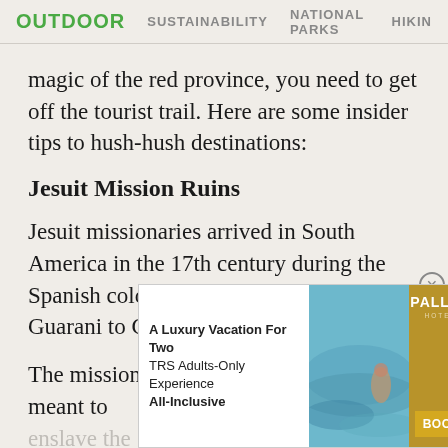OUTDOOR  SUSTAINABILITY  NATIONAL PARKS  HIKING
magic of the red province, you need to get off the tourist trail. Here are some insider tips to hush-hush destinations:
Jesuit Mission Ruins
Jesuit missionaries arrived in South America in the 17th century during the Spanish colonization to convert the Guarani to Christianity.
The missions they built here were not meant to enslave the land a more
[Figure (other): Advertisement for Palladium Hotel Group TRS Adults-Only Experience. Text reads: A Luxury Vacation For Two TRS Adults-Only Experience All-Inclusive. Shows pool/beach image and BOOK NOW button with Palladium Hotel Group logo.]